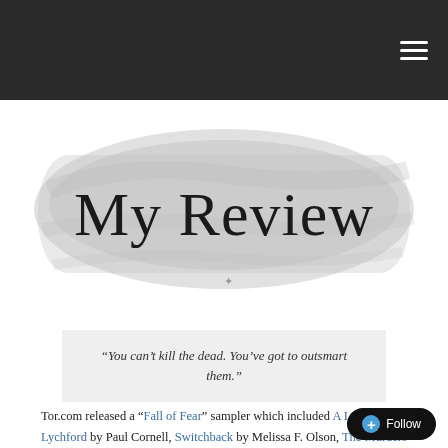[Figure (illustration): Decorative brush-stroke banner graphic with cursive text reading 'My Review']
“You can’t kill the dead. You’ve got to outsmart them.”
Tor.com released a “Fall of Fear” sampler which included A Long Day in Lychford by Paul Cornell, Switchback by Melissa F. Olson, The Murders of Molly Southbourne, and this title. This one enticed me the most. I’m also a terrible sucker for a great cover, and this one is a winner. It gives you the impression the story you’re about to embark on is atmospheric and eerie, and something perfect for any horror fan. Admittedly, I had high hopes having heard great things about Jeffrey Ford but this one a total dud. The blurb on the cover “Richard Linblator meets Stephen King meets Indiana Jones meets